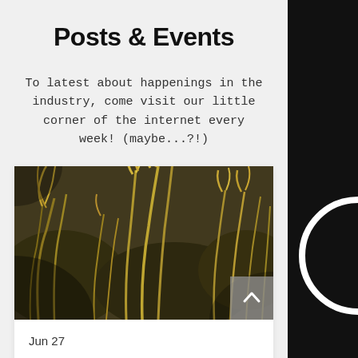Posts & Events
To latest about happenings in the industry, come visit our little corner of the internet every week! (maybe...?!)
[Figure (photo): Close-up photo of golden wheat/rice stalks in a field, dark background]
Jun 27
How to import rice to Saudi Arabia from